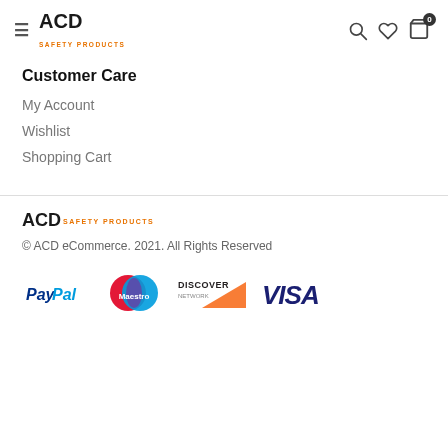ACD Safety Products — navigation header with hamburger menu, search, wishlist, and cart icons
Customer Care
My Account
Wishlist
Shopping Cart
[Figure (logo): ACD Safety Products footer logo]
© ACD eCommerce. 2021. All Rights Reserved
[Figure (infographic): Payment method logos: PayPal, Maestro, Discover Network, VISA]